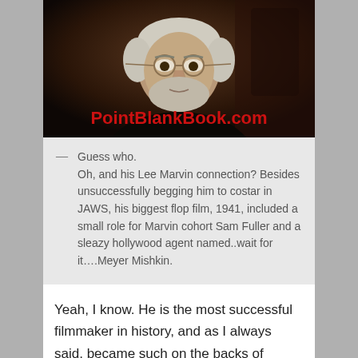[Figure (photo): Black and white portrait photo of an older man with glasses and grey hair/beard, with PointBlankBook.com watermark in red text overlaid on the lower portion of the image]
— Guess who.
Oh, and his Lee Marvin connection? Besides unsuccessfully begging him to costar in JAWS, his biggest flop film, 1941, included a small role for Marvin cohort Sam Fuller and a sleazy hollywood agent named..wait for it….Meyer Mishkin.
Yeah, I know. He is the most successful filmmaker in history, and as I always said, became such on the backs of successful films made for 14 year old boys. If that sounded cheap and sleazy, then so be it. For most of my movie going life I not only was not a fan of his films I truly reviled him. Then an interesting metamorphis took place